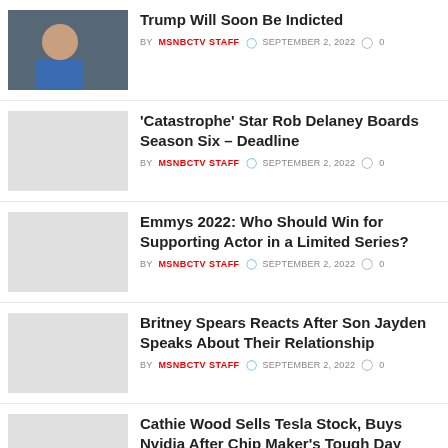Trump Will Soon Be Indicted — BY MSNBCTV STAFF  SEPTEMBER 2, 2022  0
'Catastrophe' Star Rob Delaney Boards Season Six – Deadline — BY MSNBCTV STAFF  SEPTEMBER 2, 2022  0
Emmys 2022: Who Should Win for Supporting Actor in a Limited Series? — BY MSNBCTV STAFF  SEPTEMBER 2, 2022  0
Britney Spears Reacts After Son Jayden Speaks About Their Relationship — BY MSNBCTV STAFF  SEPTEMBER 2, 2022  0
Cathie Wood Sells Tesla Stock, Buys Nvidia After Chip Maker's Tough Day — BY MSNBCTV STAFF  SEPTEMBER 2, 2022  0
The U.S. added 315,000 jobs in August as the...